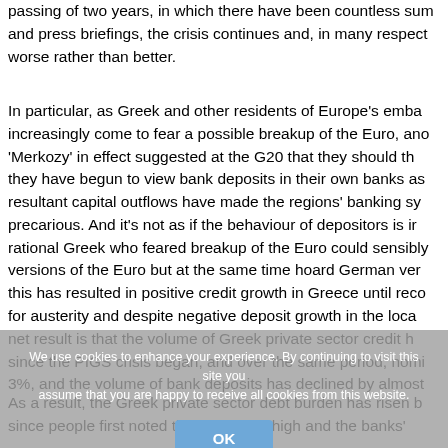passing of two years, in which there have been countless su… and press briefings, the crisis continues and, in many respect… worse rather than better.
In particular, as Greek and other residents of Europe's emba… increasingly come to fear a possible breakup of the Euro, ano… 'Merkozy' in effect suggested at the G20 that they should th… they have begun to view bank deposits in their own banks as… resultant capital outflows have made the regions' banking sy… precarious. And it's not as if the behaviour of depositors is ir… rational Greek who feared breakup of the Euro could sensibly… versions of the Euro but at the same time hoard German ver… this has resulted in positive credit growth in Greece until reco… for austerity and despite negative deposit growth in the loca… net result is that the volume of Greek private sector credit h… since the PIGS crisis began, and over the same period, nomi… 3%, and the volume of bank deposits has declined by almost…
As a result, the Greek private sector debt burden has risen b… since people first noted that it was too high and the banks'…